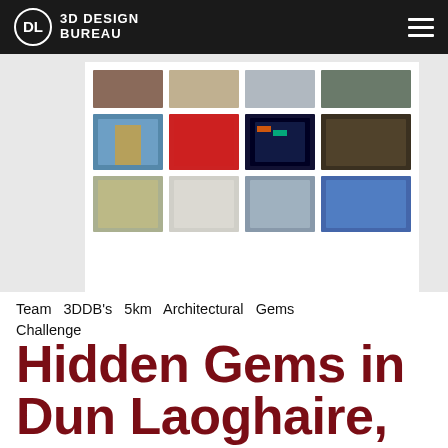3D DESIGN BUREAU
[Figure (photo): A 4x3 grid of architectural photographs showing various buildings and landmarks, possibly from Dun Laoghaire, Dublin – including a windmill, a red lighthouse, a modern illuminated building, a gothic sculpture, thatched cottage, modern white building, water/sea view, and a church tower.]
Team 3DDB's 5km Architectural Gems Challenge
Hidden Gems in Dun Laoghaire, Dublin.